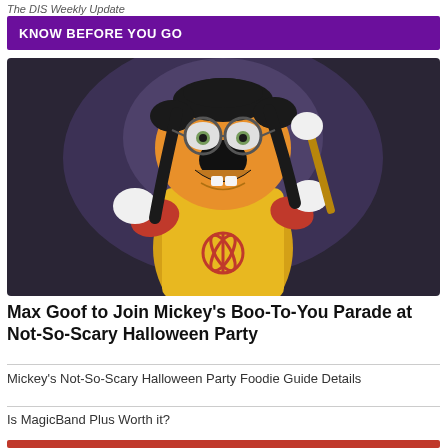The DIS Weekly Update
KNOW BEFORE YOU GO
[Figure (photo): Photo of Max Goof character in yellow costume with glasses at a Disney Halloween party event]
Max Goof to Join Mickey's Boo-To-You Parade at Not-So-Scary Halloween Party
Mickey's Not-So-Scary Halloween Party Foodie Guide Details
Is MagicBand Plus Worth it?